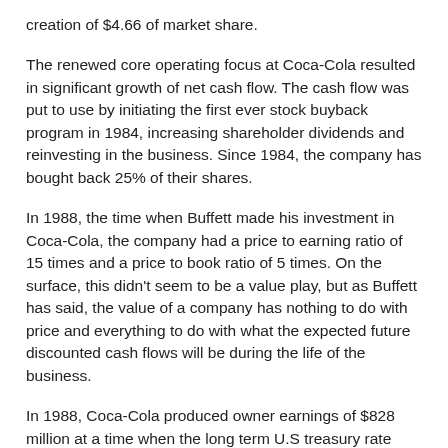creation of $4.66 of market share.
The renewed core operating focus at Coca-Cola resulted in significant growth of net cash flow. The cash flow was put to use by initiating the first ever stock buyback program in 1984, increasing shareholder dividends and reinvesting in the business. Since 1984, the company has bought back 25% of their shares.
In 1988, the time when Buffett made his investment in Coca-Cola, the company had a price to earning ratio of 15 times and a price to book ratio of 5 times. On the surface, this didn't seem to be a value play, but as Buffett has said, the value of a company has nothing to do with price and everything to do with what the expected future discounted cash flows will be during the life of the business.
In 1988, Coca-Cola produced owner earnings of $828 million at a time when the long term U.S treasury rate yield was around 9%. Coca-Cola grew owner earnings at a annual rate of 17.8% between 1981 to 1988.